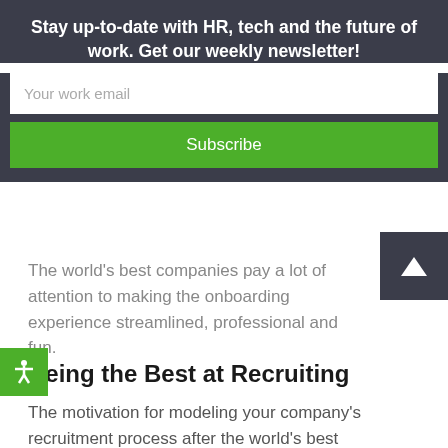Stay up-to-date with HR, tech and the future of work. Get our weekly newsletter!
Your work email
Subscribe
The world's best companies pay a lot of attention to making the onboarding experience streamlined, professional and fun.
Being the Best at Recruiting
The motivation for modeling your company's recruitment process after the world's best companies is higher revenue and decreased cost.
With the end goal in mind and the realization that the top companies have the highest employee engagement rates, you'd begin identifying the ideal culture for your